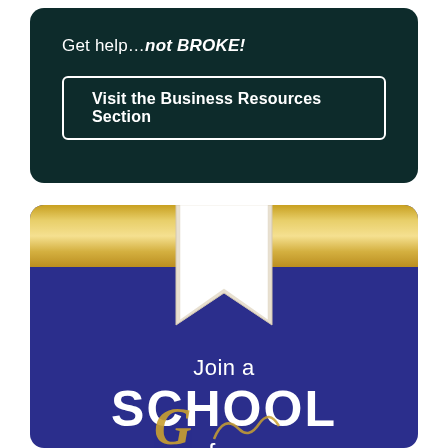Get help…not BROKE!
Visit the Business Resources Section
[Figure (illustration): Dark teal rounded card with tagline 'Get help...not BROKE!' and a bordered button 'Visit the Business Resources Section']
[Figure (illustration): Navy blue rounded card with gold top stripe, a white ribbon/bookmark shape hanging from the top, and text 'Join a SCHOOL for' with a script/cursive letter below]
Join a
SCHOOL
for